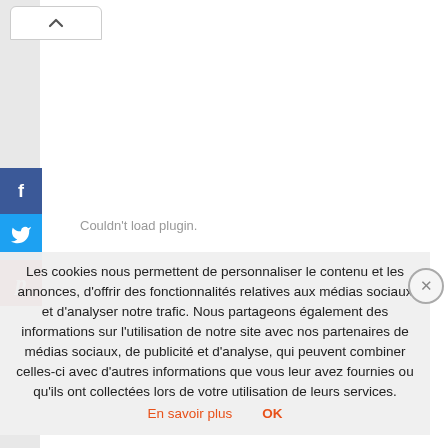[Figure (screenshot): Browser tab chevron/up-arrow button at top left]
[Figure (infographic): Social media share sidebar with Facebook (f), Twitter (bird), and Pinterest (p) buttons]
Couldn't load plugin.
Les cookies nous permettent de personnaliser le contenu et les annonces, d'offrir des fonctionnalités relatives aux médias sociaux et d'analyser notre trafic. Nous partageons également des informations sur l'utilisation de notre site avec nos partenaires de médias sociaux, de publicité et d'analyse, qui peuvent combiner celles-ci avec d'autres informations que vous leur avez fournies ou qu'ils ont collectées lors de votre utilisation de leurs services.
En savoir plus   OK